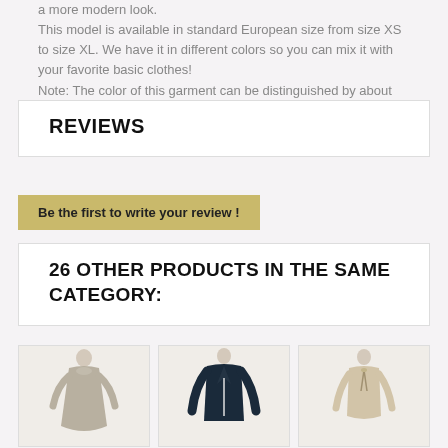a more modern look. This model is available in standard European size from size XS to size XL. We have it in different colors so you can mix it with your favorite basic clothes! Note: The color of this garment can be distinguished by about 5% from the physical color. HEX color is: #253eca
REVIEWS
Be the first to write your review !
26 OTHER PRODUCTS IN THE SAME CATEGORY:
[Figure (photo): Three clothing items on mannequins: a gray dress, a dark blazer, and a beige top]
[Figure (photo): Gray loose-fitting dress on mannequin]
[Figure (photo): Dark navy blazer on mannequin]
[Figure (photo): Beige top with tie detail on mannequin]